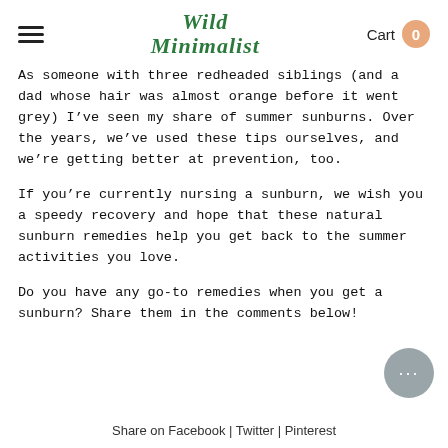Wild Minimalist | Cart 0
As someone with three redheaded siblings (and a dad whose hair was almost orange before it went grey) I’ve seen my share of summer sunburns. Over the years, we’ve used these tips ourselves, and we’re getting better at prevention, too.
If you’re currently nursing a sunburn, we wish you a speedy recovery and hope that these natural sunburn remedies help you get back to the summer activities you love.
Do you have any go-to remedies when you get a sunburn? Share them in the comments below!
Share on Facebook | Twitter | Pinterest